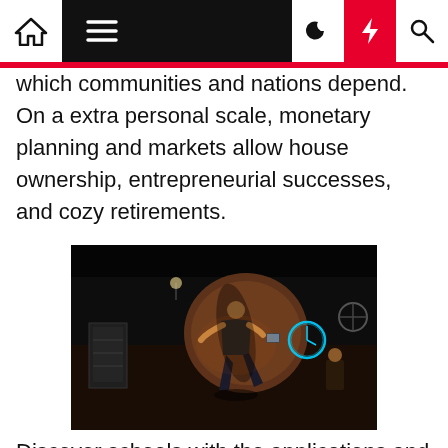[Navigation bar with home, menu, dark mode, bolt, search icons]
which communities and nations depend. On a extra personal scale, monetary planning and markets allow house ownership, entrepreneurial successes, and cozy retirements.
[Figure (photo): A man dancing or performing on a stage in a dimly lit bar/cafe setting, with a neon clock on the wall, other people seated in background, and bar equipment visible.]
Discover schools with the applications and courses you're thinking about, and start learning at present